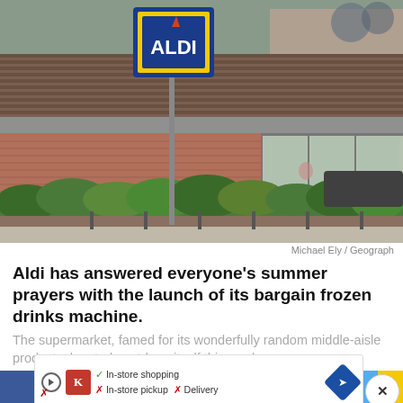[Figure (photo): Exterior photo of an Aldi supermarket store with the blue and orange Aldi sign visible on a pole, a brick building with large glass windows, hedges in the foreground, and a parked car visible to the right.]
Michael Ely / Geograph
Aldi has answered everyone's summer prayers with the launch of its bargain frozen drinks machine.
The supermarket, famed for its wonderfully random middle-aisle products, has truly outdone itself this week.